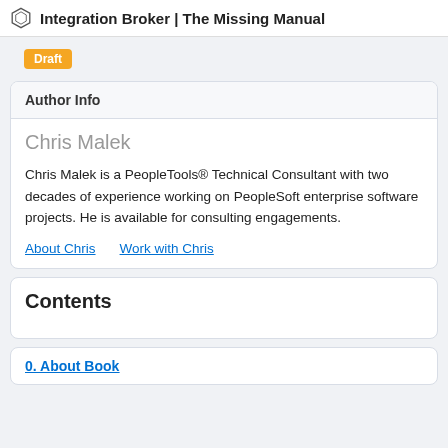Integration Broker | The Missing Manual
Draft
Author Info
Chris Malek
Chris Malek is a PeopleTools® Technical Consultant with two decades of experience working on PeopleSoft enterprise software projects. He is available for consulting engagements.
About Chris    Work with Chris
Contents
0. About Book